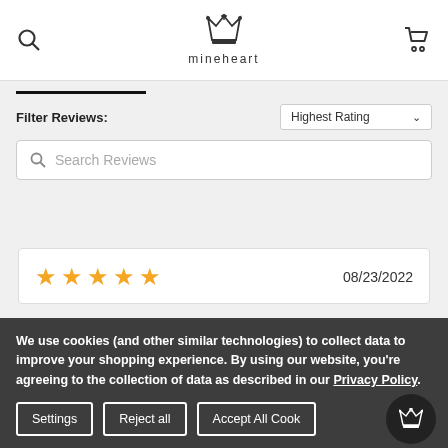[Figure (logo): Mineheart crown logo with text 'mineheart' below]
Filter Reviews:
Highest Rating
Search Reviews
08/23/2022
We use cookies (and other similar technologies) to collect data to improve your shopping experience. By using our website, you're agreeing to the collection of data as described in our Privacy Policy.
Settings
Reject all
Accept All Cookies